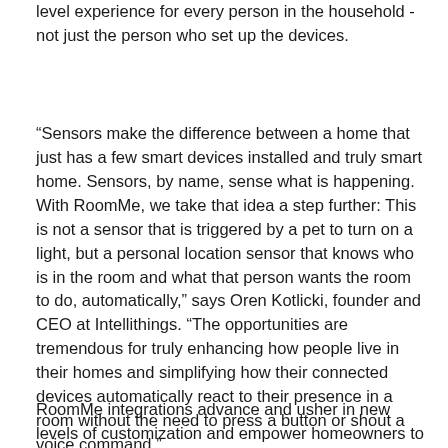level experience for every person in the household - not just the person who set up the devices.
“Sensors make the difference between a home that just has a few smart devices installed and truly smart home. Sensors, by name, sense what is happening. With RoomMe, we take that idea a step further: This is not a sensor that is triggered by a pet to turn on a light, but a personal location sensor that knows who is in the room and what that person wants the room to do, automatically,” says Oren Kotlicki, founder and CEO at Intellithings. “The opportunities are tremendous for truly enhancing how people live in their homes and simplifying how their connected devices automatically react to their presence in a room without the need to press a button or shout a voice command.”
RoomMe integrations advance and usher in new levels of customization and empower homeowners to further